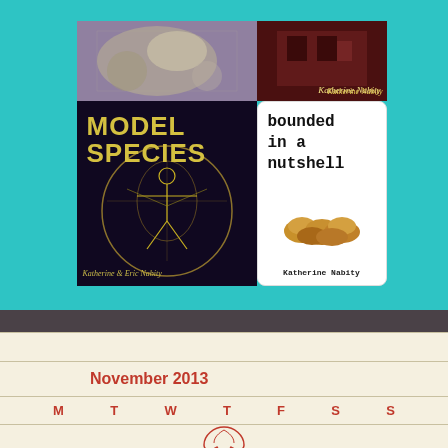[Figure (illustration): Book covers collage on teal background: top-left shows a purple/mineral texture cover, top-right shows a dark red building cover with 'Katherine Nabity' in script, bottom-left shows 'Model Species' by Katherine & Eric Nabity with Vitruvian man on dark purple background, bottom-right shows 'bounded in a nutshell' by Katherine Nabity with nuts on white background]
November 2013
M  T  W  T  F  S  S